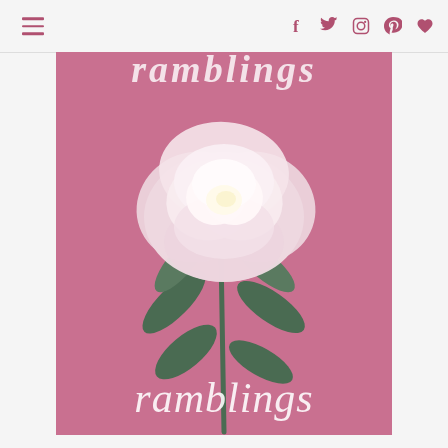Navigation bar with hamburger menu and social icons: f (Facebook), Twitter bird, Instagram, Pinterest, Heart/Bloglovin
[Figure (photo): A pink rose with green leaves on a dusky pink background. The word 'ramblings' appears in white italic script at the bottom of the image. Partial text visible at the top of the image (cut off).]
ramblings